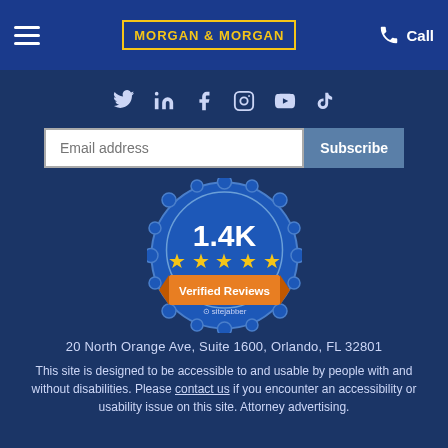Morgan & Morgan — Call
[Figure (logo): Social media icons: Twitter, LinkedIn, Facebook, Instagram, YouTube, TikTok]
[Figure (infographic): Sitejabber badge: 1.4K Verified Reviews, 5 stars]
20 North Orange Ave, Suite 1600, Orlando, FL 32801
This site is designed to be accessible to and usable by people with and without disabilities. Please contact us if you encounter an accessibility or usability issue on this site. Attorney advertising.